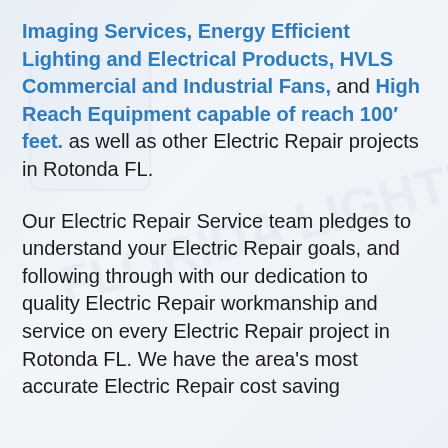Imaging Services, Energy Efficient Lighting and Electrical Products, HVLS Commercial and Industrial Fans, and High Reach Equipment capable of reach 100′ feet. as well as other Electric Repair projects in Rotonda FL.
Our Electric Repair Service team pledges to understand your Electric Repair goals, and following through with our dedication to quality Electric Repair workmanship and service on every Electric Repair project in Rotonda FL. We have the area's most accurate Electric Repair cost saving